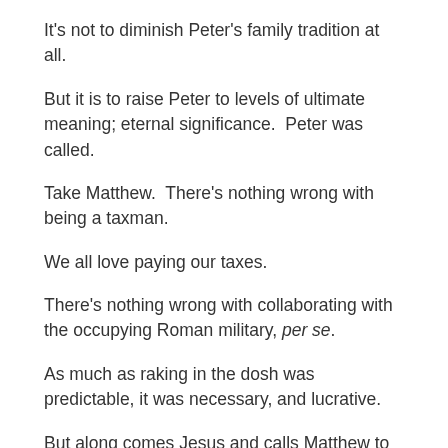It's not to diminish Peter's family tradition at all.
But it is to raise Peter to levels of ultimate meaning; eternal significance.  Peter was called.
Take Matthew.  There's nothing wrong with being a taxman.
We all love paying our taxes.
There's nothing wrong with collaborating with the occupying Roman military, per se.
As much as raking in the dosh was predictable, it was necessary, and lucrative.
But along comes Jesus and calls Matthew to follow.